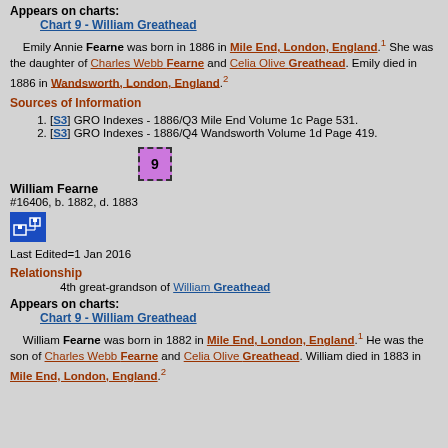Appears on charts:
Chart 9 - William Greathead
Emily Annie Fearne was born in 1886 in Mile End, London, England.1 She was the daughter of Charles Webb Fearne and Celia Olive Greathead. Emily died in 1886 in Wandsworth, London, England.2
Sources of Information
[S3] GRO Indexes - 1886/Q3 Mile End Volume 1c Page 531.
[S3] GRO Indexes - 1886/Q4 Wandsworth Volume 1d Page 419.
William Fearne #16406, b. 1882, d. 1883
Last Edited=1 Jan 2016
Relationship
4th great-grandson of William Greathead
Appears on charts:
Chart 9 - William Greathead
William Fearne was born in 1882 in Mile End, London, England.1 He was the son of Charles Webb Fearne and Celia Olive Greathead. William died in 1883 in Mile End, London, England.2